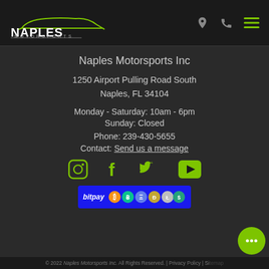[Figure (logo): Naples Motorsports logo with green car silhouette outline above bold white NAPLES text and MOTORSPORTS subtitle]
Naples Motorsports Inc
1250 Airport Pulling Road South
Naples, FL 34104
Monday - Saturday: 10am - 6pm
Sunday: Closed
Phone: 239-430-5655
Contact: Send us a message
[Figure (illustration): Social media icons row: Instagram, Facebook, Twitter, YouTube — all in green]
[Figure (logo): BitPay payment banner with cryptocurrency coin icons]
© 2022 Naples Motorsports Inc. All Rights Reserved. | Privacy Policy | Sitemap